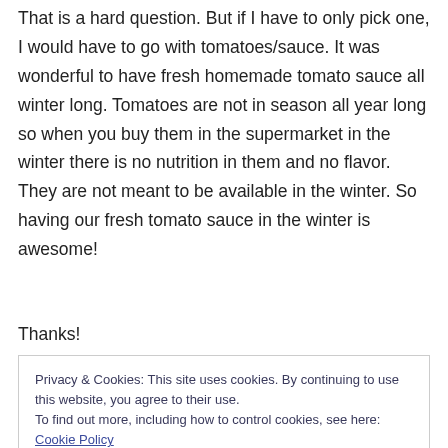That is a hard question. But if I have to only pick one, I would have to go with tomatoes/sauce. It was wonderful to have fresh homemade tomato sauce all winter long. Tomatoes are not in season all year long so when you buy them in the supermarket in the winter there is no nutrition in them and no flavor. They are not meant to be available in the winter. So having our fresh tomato sauce in the winter is awesome!
Thanks!
Privacy & Cookies: This site uses cookies. By continuing to use this website, you agree to their use.
To find out more, including how to control cookies, see here: Cookie Policy
Close and accept
great greatly... has been teens awesome!...